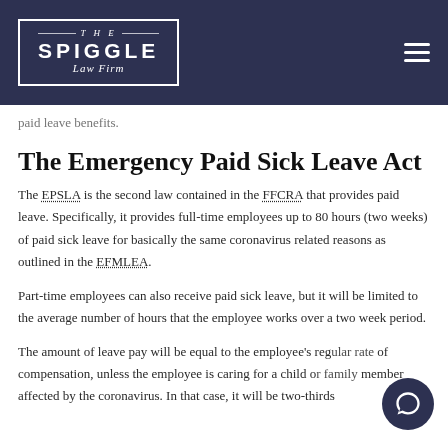THE SPIGGLE Law Firm
paid leave benefits.
The Emergency Paid Sick Leave Act
The EPSLA is the second law contained in the FFCRA that provides paid leave. Specifically, it provides full-time employees up to 80 hours (two weeks) of paid sick leave for basically the same coronavirus related reasons as outlined in the EFMLEA.
Part-time employees can also receive paid sick leave, but it will be limited to the average number of hours that the employee works over a two week period.
The amount of leave pay will be equal to the employee's regular rate of compensation, unless the employee is caring for a child or family member affected by the coronavirus. In that case, it will be two-thirds